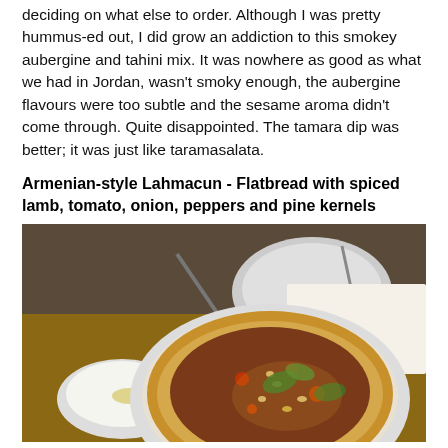deciding on what else to order. Although I was pretty hummus-ed out, I did grow an addiction to this smokey aubergine and tahini mix. It was nowhere as good as what we had in Jordan, wasn't smoky enough, the aubergine flavours were too subtle and the sesame aroma didn't come through. Quite disappointed. The tamara dip was better; it was just like taramasalata.
Armenian-style Lahmacun - Flatbread with spiced lamb, tomato, onion, peppers and pine kernels
[Figure (photo): A photo of a lahmacun (Armenian-style flatbread) topped with spiced lamb, tomatoes, onions, peppers, pine kernels, and fresh herbs, served on a plate. A small bowl of white dip is visible on the left, and a plate with a fork is in the background.]
It was the first thing Shan spotted on the menu. I think I had something similar in Turkey, like a mini pizza, except the ones we had in Turkey were twice the size and double the